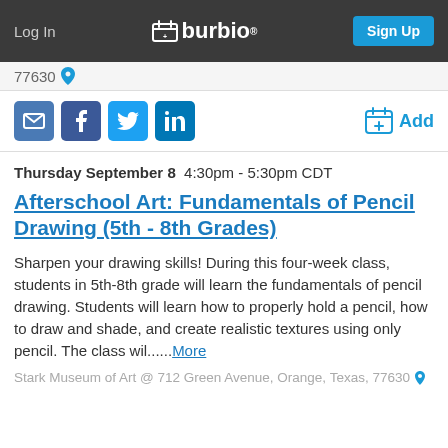Log In  burbio  Sign Up
77630
[Figure (screenshot): Social share icons: email, Facebook, Twitter, LinkedIn; and an Add button with calendar icon]
Thursday September 8  4:30pm - 5:30pm CDT
Afterschool Art: Fundamentals of Pencil Drawing (5th - 8th Grades)
Sharpen your drawing skills! During this four-week class, students in 5th-8th grade will learn the fundamentals of pencil drawing. Students will learn how to properly hold a pencil, how to draw and shade, and create realistic textures using only pencil. The class wil......More
Stark Museum of Art @ 712 Green Avenue, Orange, Texas, 77630